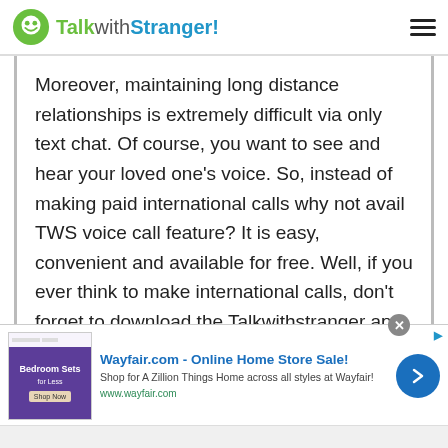TalkwithStranger!
Moreover, maintaining long distance relationships is extremely difficult via only text chat. Of course, you want to see and hear your loved one's voice. So, instead of making paid international calls why not avail TWS voice call feature? It is easy, convenient and available for free. Well, if you ever think to make international calls, don't forget to download the Talkwithstranger app and start using the unlimited voice call option. So, what would you like to choose making phone calls or the TWS voice calling option? Whatever your choice, make sure to choose the
[Figure (infographic): Wayfair.com advertisement banner: Online Home Store Sale! Shop for A Zillion Things Home across all styles at Wayfair! www.wayfair.com]